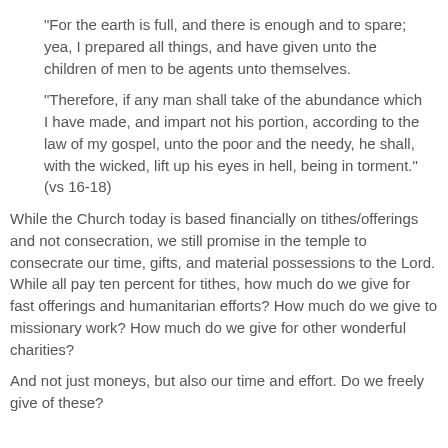"For the earth is full, and there is enough and to spare; yea, I prepared all things, and have given unto the children of men to be agents unto themselves.
"Therefore, if any man shall take of the abundance which I have made, and impart not his portion, according to the law of my gospel, unto the poor and the needy, he shall, with the wicked, lift up his eyes in hell, being in torment." (vs 16-18)
While the Church today is based financially on tithes/offerings and not consecration, we still promise in the temple to consecrate our time, gifts, and material possessions to the Lord. While all pay ten percent for tithes, how much do we give for fast offerings and humanitarian efforts? How much do we give to missionary work? How much do we give for other wonderful charities?
And not just moneys, but also our time and effort. Do we freely give of these?